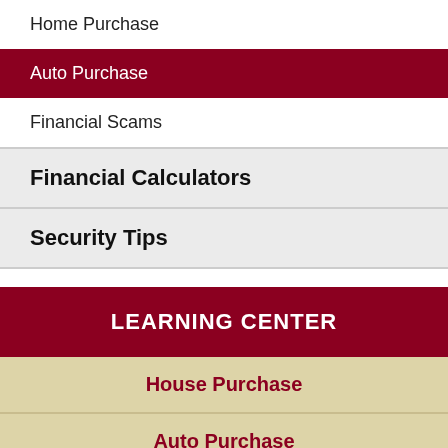Home Purchase
Auto Purchase
Financial Scams
Financial Calculators
Security Tips
LEARNING CENTER
House Purchase
Auto Purchase
Financial Wisdom